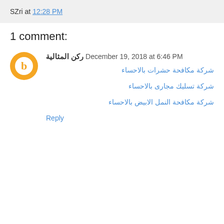SZri at 12:28 PM
1 comment:
ركن المثالية December 19, 2018 at 6:46 PM
شركة مكافحة حشرات بالاحساء
شركة تسليك مجارى بالاحساء
شركة مكافحة النمل الابيض بالاحساء
Reply